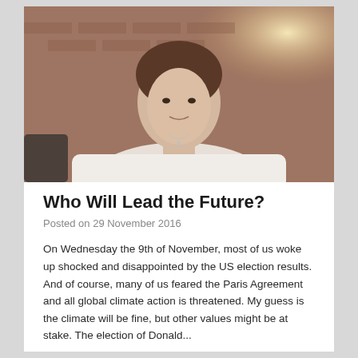[Figure (photo): Portrait photo of a young woman with dark hair pulled back, wearing a white long-sleeve top and a delicate necklace, smiling slightly. Background shows brick wall and warm ambient light.]
Who Will Lead the Future?
Posted on 29 November 2016
On Wednesday the 9th of November, most of us woke up shocked and disappointed by the US election results. And of course, many of us feared the Paris Agreement and all global climate action is threatened. My guess is the climate will be fine, but other values might be at stake. The election of Donald...